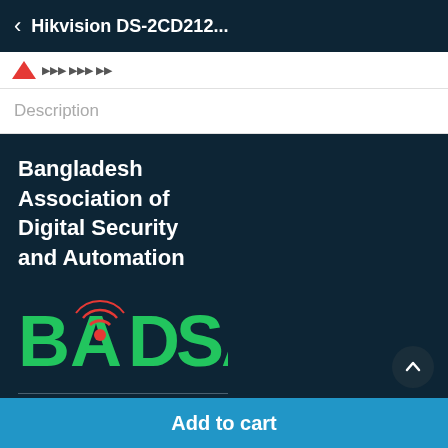Hikvision DS-2CD212...
Description
Bangladesh Association of Digital Security and Automation
[Figure (logo): BADSA logo in green letters with red concentric signal arcs in the center letter A, on dark navy background]
We Accept Payment Via
Add to cart